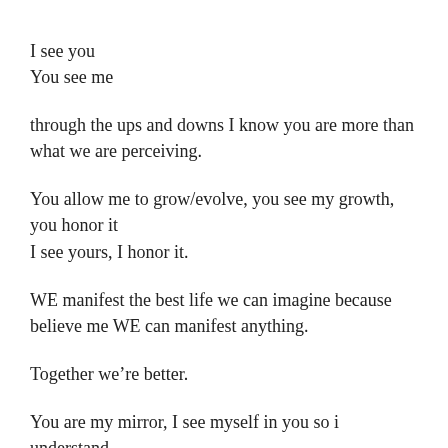I see you
You see me
through the ups and downs I know you are more than what we are perceiving.
You allow me to grow/evolve, you see my growth, you honor it
I see yours, I honor it.
WE manifest the best life we can imagine because believe me WE can manifest anything.
Together we're better.
You are my mirror, I see myself in you so i understand